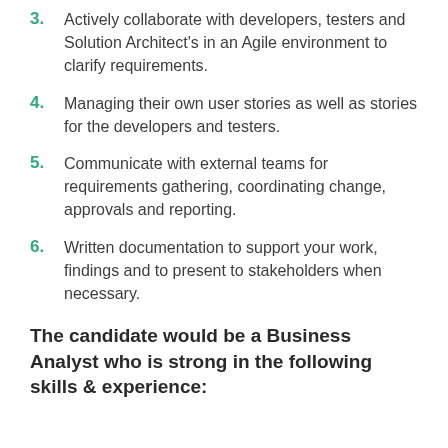3. Actively collaborate with developers, testers and Solution Architect's in an Agile environment to clarify requirements.
4. Managing their own user stories as well as stories for the developers and testers.
5. Communicate with external teams for requirements gathering, coordinating change, approvals and reporting.
6. Written documentation to support your work, findings and to present to stakeholders when necessary.
The candidate would be a Business Analyst who is strong in the following skills & experience: